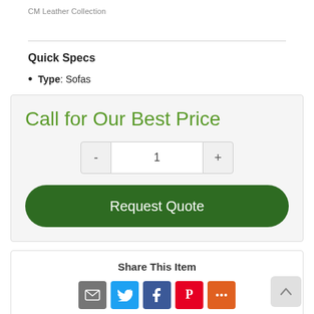CM Leather Collection
Quick Specs
Type: Sofas
Call for Our Best Price
Request Quote
Share This Item